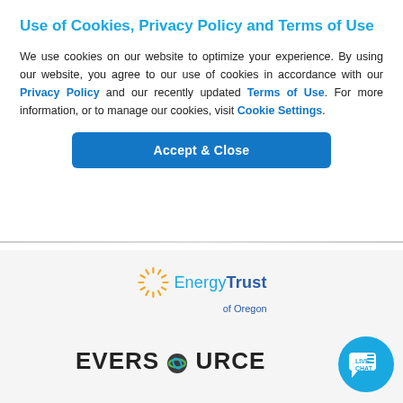Use of Cookies, Privacy Policy and Terms of Use
We use cookies on our website to optimize your experience. By using our website, you agree to our use of cookies in accordance with our Privacy Policy and our recently updated Terms of Use. For more information, or to manage our cookies, visit Cookie Settings.
[Figure (other): Accept & Close button (blue rounded rectangle)]
[Figure (logo): Energy Trust of Oregon logo with sunburst graphic]
[Figure (logo): Eversource logo in bold black text with green/blue circle element]
[Figure (other): Live Chat circular blue button with chat icon]